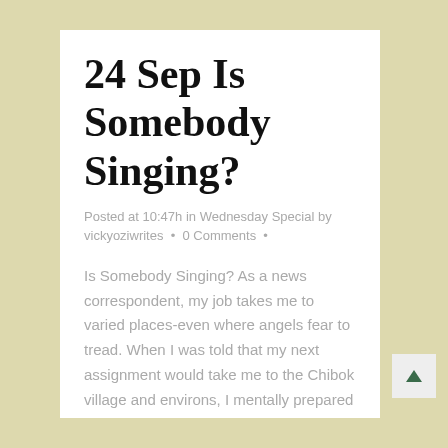24 Sep Is Somebody Singing?
Posted at 10:47h in Wednesday Special by vickyoziwrites • 0 Comments •
Is Somebody Singing? As a news correspondent, my job takes me to varied places-even where angels fear to tread. When I was told that my next assignment would take me to the Chibok village and environs, I mentally prepared myself. Carnage was not new to me....